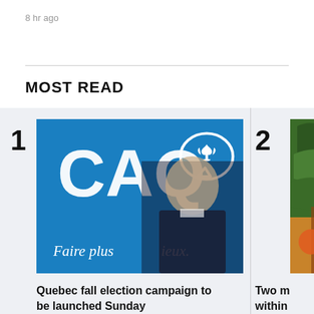8 hr ago
MOST READ
[Figure (photo): CAQ campaign banner with party logo and man in suit, text 'Faire plus mieux.']
Quebec fall election campaign to be launched Sunday
[Figure (photo): Partial image of green tropical plant with orange/red detail]
Two m within